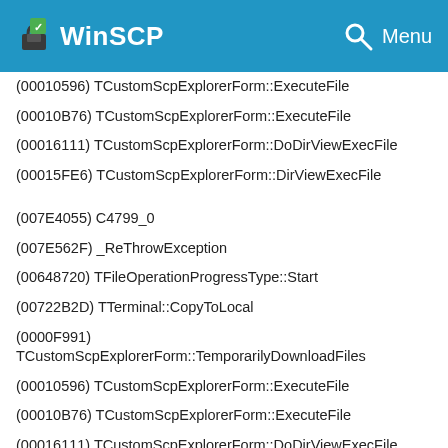WinSCP
(00010596) TCustomScpExplorerForm::ExecuteFile
(00010B76) TCustomScpExplorerForm::ExecuteFile
(00016111) TCustomScpExplorerForm::DoDirViewExecFile
(00015FE6) TCustomScpExplorerForm::DirViewExecFile
(007E4055) C4799_0
(007E562F) _ReThrowException
(00648720) TFileOperationProgressType::Start
(00722B2D) TTerminal::CopyToLocal
(0000F991)
TCustomScpExplorerForm::TemporarilyDownloadFiles
(00010596) TCustomScpExplorerForm::ExecuteFile
(00010B76) TCustomScpExplorerForm::ExecuteFile
(00016111) TCustomScpExplorerForm::DoDirViewExecFile